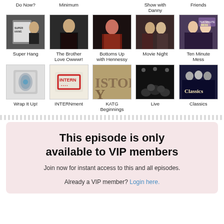Do Now?
Minimum
Show with Danny
Friends
[Figure (photo): Super Hang thumbnail - person holding a book]
Super Hang
[Figure (photo): The Brother Love Owwwr! thumbnail - person in dark jacket]
The Brother Love Owwwr!
[Figure (photo): Bottoms Up with Hennessy thumbnail - person in red]
Bottoms Up with Hennessy
[Figure (photo): Movie Night thumbnail - group of people]
Movie Night
[Figure (photo): Ten Minute Mess thumbnail - two women]
Ten Minute Mess
[Figure (photo): Wrap It Up! thumbnail - product image]
Wrap It Up!
[Figure (photo): INTERNment thumbnail - stamp logo]
INTERNment
[Figure (photo): KATG Beginnings thumbnail - stone lettering]
KATG Beginnings
[Figure (photo): Live thumbnail - crowd at concert]
Live
[Figure (photo): Classics thumbnail - group photo with Classics text]
Classics
This episode is only available to VIP members
Join now for instant access to this and all episodes.
Already a VIP member? Login here.